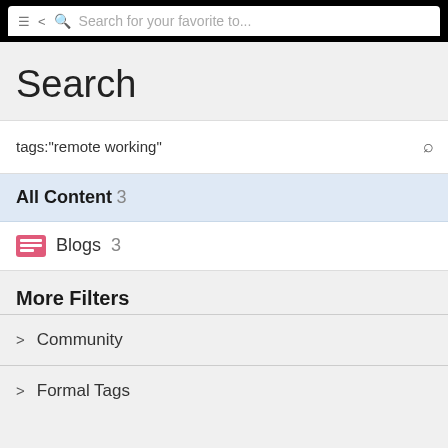Search for your favorite to...
Search
tags:"remote working"
All Content 3
Blogs 3
More Filters
Community
Formal Tags